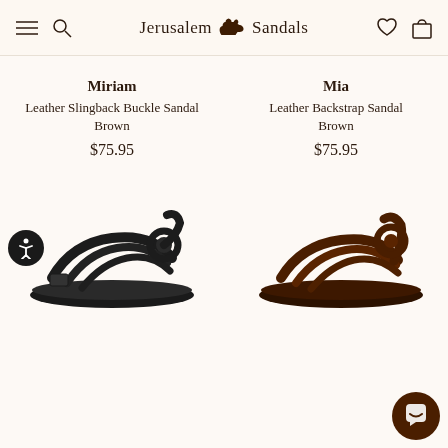Jerusalem Sandals
Miriam
Leather Slingback Buckle Sandal
Brown
$75.95
Mia
Leather Backstrap Sandal
Brown
$75.95
[Figure (photo): Brown/black leather slingback buckle sandal (Miriam) on white background]
[Figure (photo): Dark brown leather backstrap sandal (Mia) on white background]